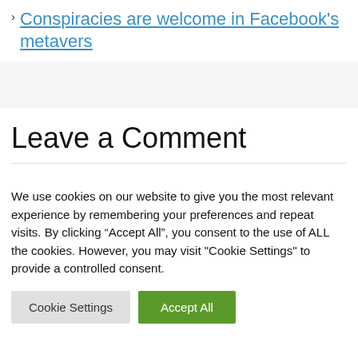Conspiracies are welcome in Facebook's metavers
Leave a Comment
We use cookies on our website to give you the most relevant experience by remembering your preferences and repeat visits. By clicking “Accept All”, you consent to the use of ALL the cookies. However, you may visit "Cookie Settings" to provide a controlled consent.